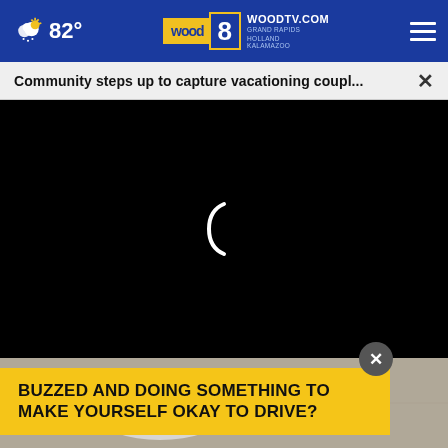82° — WOODTV.COM GRAND RAPIDS HOLLAND KALAMAZOO — wood 8
Community steps up to capture vacationing coupl...  ×
[Figure (screenshot): Black video player loading screen with a white loading spinner symbol in the center]
[Figure (photo): Partial photo showing a person's feet/ankles in white shoes on a surface]
BUZZED AND DOING SOMETHING TO MAKE YOURSELF OKAY TO DRIVE?